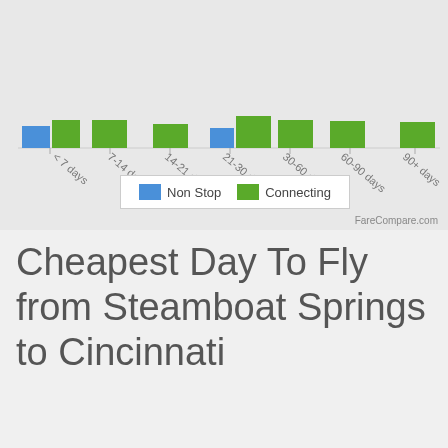[Figure (bar-chart): Cheapest booking window by days in advance]
Cheapest Day To Fly from Steamboat Springs to Cincinnati